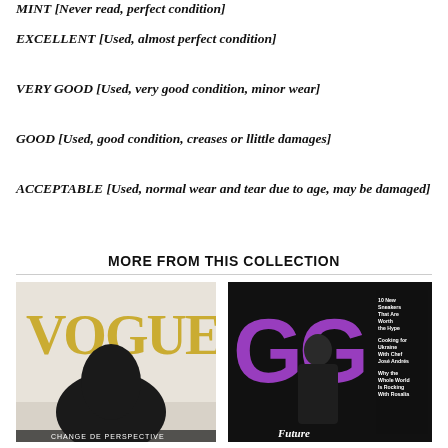MINT [Never read, perfect condition]
EXCELLENT [Used, almost perfect condition]
VERY GOOD [Used, very good condition, minor wear]
GOOD [Used, good condition, creases or llittle damages]
ACCEPTABLE [Used, normal wear and tear due to age, may be damaged]
MORE FROM THIS COLLECTION
[Figure (photo): Vogue magazine cover showing large VOGUE gold letters with a model in a black outfit, text 'CHANGE DE PERSPECTIVE' at the bottom]
[Figure (photo): GQ magazine cover showing large purple GG letters with a man in a dark coat, text including '10 New Sneakers That Are Worth the Hype', 'Cooking for Ukraine With Chef José Andrés', 'Why the Whole World Is Rocking With Rosalía', and 'Future' at the bottom]